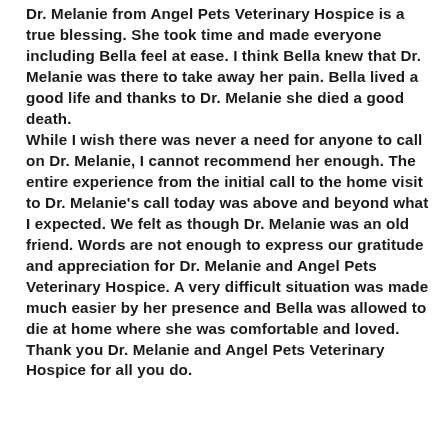Dr. Melanie from Angel Pets Veterinary Hospice is a true blessing. She took time and made everyone including Bella feel at ease. I think Bella knew that Dr. Melanie was there to take away her pain. Bella lived a good life and thanks to Dr. Melanie she died a good death.
While I wish there was never a need for anyone to call on Dr. Melanie, I cannot recommend her enough. The entire experience from the initial call to the home visit to Dr. Melanie's call today was above and beyond what I expected. We felt as though Dr. Melanie was an old friend. Words are not enough to express our gratitude and appreciation for Dr. Melanie and Angel Pets Veterinary Hospice. A very difficult situation was made much easier by her presence and Bella was allowed to die at home where she was comfortable and loved.
Thank you Dr. Melanie and Angel Pets Veterinary Hospice for all you do.